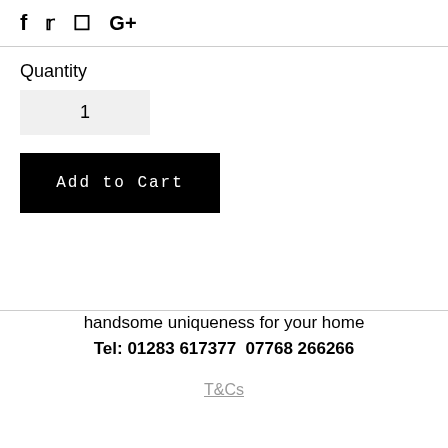f  𝕏  ℗  G+
Quantity
1
Add to Cart
handsome uniqueness for your home
Tel: 01283 617377  07768 266266
T&Cs